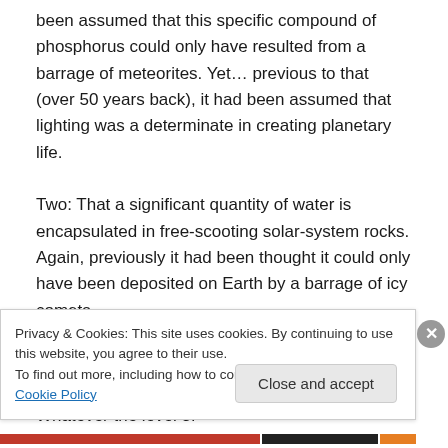been assumed that this specific compound of phosphorus could only have resulted from a barrage of meteorites. Yet… previous to that (over 50 years back), it had been assumed that lighting was a determinate in creating planetary life.
Two: That a significant quantity of water is encapsulated in free-scooting solar-system rocks. Again, previously it had been thought it could only have been deposited on Earth by a barrage of icy comets.
Think about it (from both findings): Life on our wayward planet goes back billions of years. Whatever the level of
Privacy & Cookies: This site uses cookies. By continuing to use this website, you agree to their use.
To find out more, including how to control cookies, see here: Cookie Policy